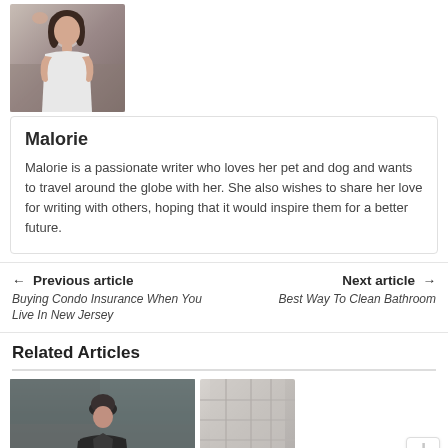[Figure (photo): Author photo of Malorie - a woman in a white outfit with dark hair, shown from the waist up against a blurred background]
Malorie
Malorie is a passionate writer who loves her pet and dog and wants to travel around the globe with her. She also wishes to share her love for writing with others, hoping that it would inspire them for a better future.
← Previous article
Buying Condo Insurance When You Live In New Jersey
Next article →
Best Way To Clean Bathroom
Related Articles
[Figure (photo): Photo of a person wearing a dark baseball cap and jacket, standing in front of a glass building]
[Figure (photo): Partial photo of a modern building exterior]